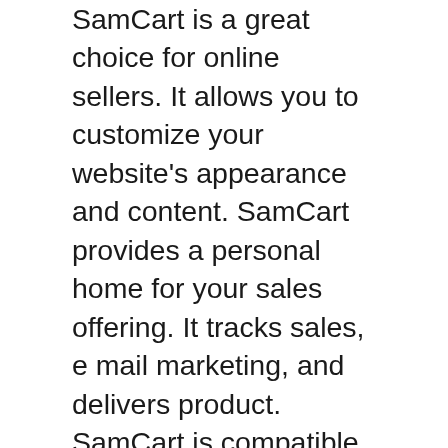SamCart is a great choice for online sellers. It allows you to customize your website's appearance and content. SamCart provides a personal home for your sales offering. It tracks sales, e mail marketing, and delivers product. SamCart is compatible with all kinds of ecommerce sites and provides advanced functionalities for all types of online businesses. It can even be used to manage an affiliate program. The best part is, SamCart is extremely flexible and offers best-in-class adaptive measures.
SamCart allows you to test product prices using AB tests. SamCart lets you test your website without the need to publish it. SamCart integrates well with many popular shopping cart platforms. The list of